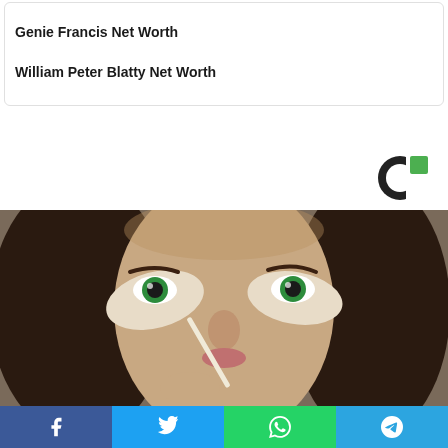Genie Francis Net Worth
William Peter Blatty Net Worth
[Figure (logo): Circular logo with green square accent and dark C shape]
[Figure (photo): Close-up photo of a woman with green eyes applying concealer or cream under her eyes with a brush]
Social share bar with Facebook, Twitter, WhatsApp, and Telegram buttons